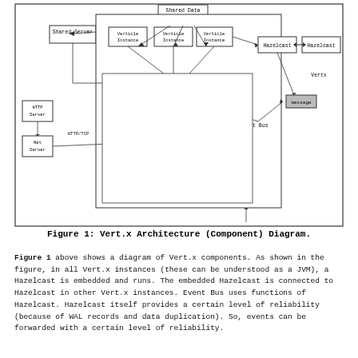[Figure (network-graph): Vert.x Architecture (Component) Diagram showing HTTP Server, Net Server, Shared Server, Verticle Instances, Worker mode, NioWorker threads, Acceptor Thread Pool, Event Loops, Background Thread Pool, blocking job, Thread, Event Bus, Hazelcast, Vertx, message, req/res, accept, Shared Data components with arrows indicating connections and data flow.]
Figure 1: Vert.x Architecture (Component) Diagram.
Figure 1 above shows a diagram of Vert.x components. As shown in the figure, in all Vert.x instances (these can be understood as a JVM), a Hazelcast is embedded and runs. The embedded Hazelcast is connected to Hazelcast in other Vert.x instances. Event Bus uses functions of Hazelcast. Hazelcast itself provides a certain level of reliability (because of WAL records and data duplication). So, events can be forwarded with a certain level of reliability.